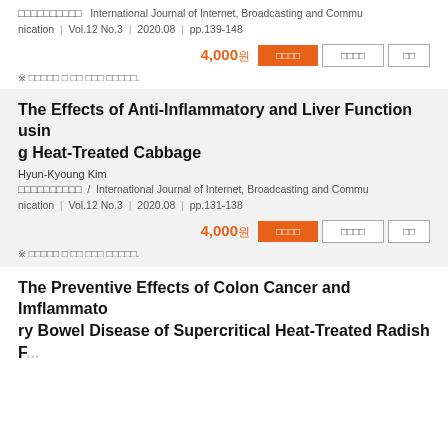□□□□□□□□□□ , International Journal of Internet, Broadcasting and Communication , Vol.12 No.3 , 2020.08 , pp.139-148
4,000원 [버튼: 원문보기] [버튼: 논문복사] [버튼: 찜]
※ □□□□□ □ □□ □□□ □□□□□.
The Effects of Anti-Inflammatory and Liver Function using Heat-Treated Cabbage
Hyun-Kyoung Kim
□□□□□□□□□□ , International Journal of Internet, Broadcasting and Communication , Vol.12 No.3 , 2020.08 , pp.131-138
4,000원 [버튼: 원문보기] [버튼: 논문복사] [버튼: 찜]
※ □□□□□ □ □□ □□□ □□□□□.
The Preventive Effects of Colon Cancer and Imflammatory Bowel Disease of Supercritical Heat-Treated Radish F...